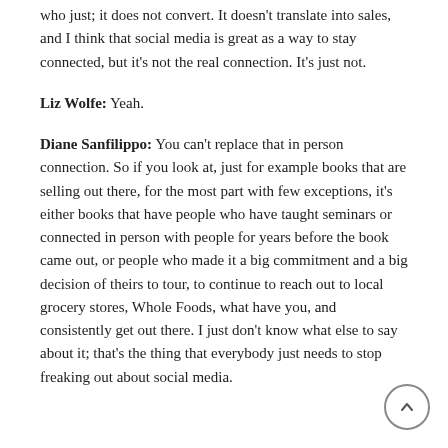for sure who have huge followings on social media who just; it does not convert. It doesn't translate into sales, and I think that social media is great as a way to stay connected, but it's not the real connection. It's just not.
Liz Wolfe: Yeah.
Diane Sanfilippo: You can't replace that in person connection. So if you look at, just for example books that are selling out there, for the most part with few exceptions, it's either books that have people who have taught seminars or connected in person with people for years before the book came out, or people who made it a big commitment and a big decision of theirs to tour, to continue to reach out to local grocery stores, Whole Foods, what have you, and consistently get out there. I just don't know what else to say about it; that's the thing that everybody just needs to stop freaking out about social media.